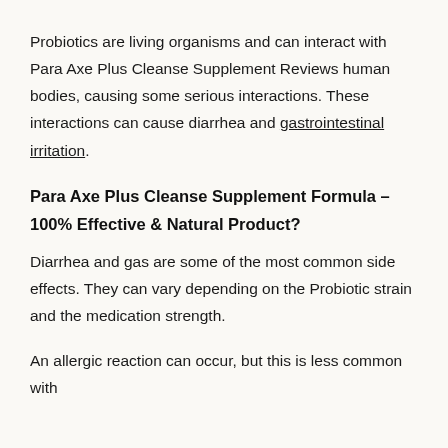Probiotics are living organisms and can interact with Para Axe Plus Cleanse Supplement Reviews human bodies, causing some serious interactions. These interactions can cause diarrhea and gastrointestinal irritation.
Para Axe Plus Cleanse Supplement Formula – 100% Effective & Natural Product?
Diarrhea and gas are some of the most common side effects. They can vary depending on the Probiotic strain and the medication strength.
An allergic reaction can occur, but this is less common with